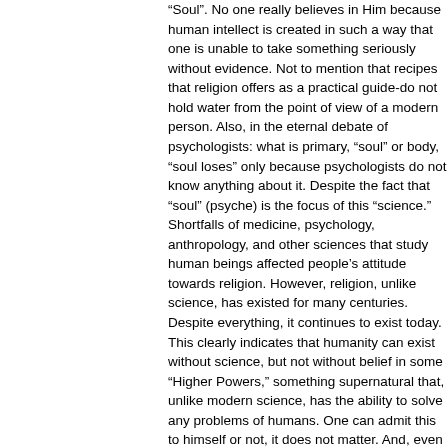"Soul". No one really believes in Him because human intellect is created in such a way that one is unable to take something seriously without evidence. Not to mention that recipes that religion offers as a practical guide-do not hold water from the point of view of a modern person. Also, in the eternal debate of psychologists: what is primary, "soul" or body, "soul loses" only because psychologists do not know anything about it. Despite the fact that "soul" (psyche) is the focus of this "science." Shortfalls of medicine, psychology, anthropology, and other sciences that study human beings affected people's attitude towards religion. However, religion, unlike science, has existed for many centuries. Despite everything, it continues to exist today. This clearly indicates that humanity can exist without science, but not without belief in some "Higher Powers," something supernatural that, unlike modern science, has the ability to solve any problems of humans. One can admit this to himself or not, it does not matter. And, even more so, it does not matter whether this role is filled by biblical "God" (or those gods that religions offer to consider gods) or not. As it is known, there are books much older